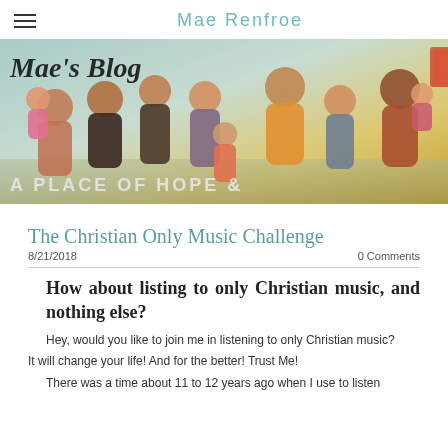Mae Renfroe
[Figure (photo): Group photo of a family with children and adults smiling outdoors, with text overlay 'Mae's Blog' in script and 'A PLACE OF HOPE &' at the bottom.]
The Christian Only Music Challenge
8/21/2018   0 Comments
How about listing to only Christian music, and nothing else?
Hey, would you like to join me in listening to only Christian music?
It will change your life! And for the better! Trust Me!
There was a time about 11 to 12 years ago when I use to listen